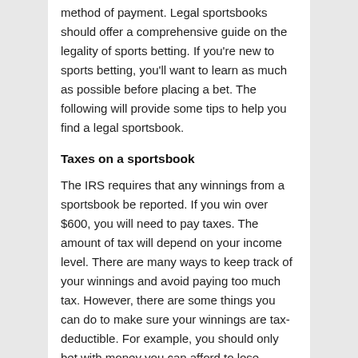method of payment. Legal sportsbooks should offer a comprehensive guide on the legality of sports betting. If you're new to sports betting, you'll want to learn as much as possible before placing a bet. The following will provide some tips to help you find a legal sportsbook.
Taxes on a sportsbook
The IRS requires that any winnings from a sportsbook be reported. If you win over $600, you will need to pay taxes. The amount of tax will depend on your income level. There are many ways to keep track of your winnings and avoid paying too much tax. However, there are some things you can do to make sure your winnings are tax-deductible. For example, you should only bet with money you can afford to lose.
Ditulis pada Uncategorized
Lottery Prizes